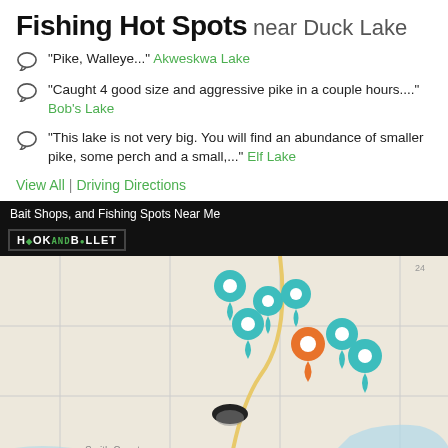Fishing Hot Spots near Duck Lake
"Pike, Walleye..." Akweskwa Lake
"Caught 4 good size and aggressive pike in a couple hours...." Bob's Lake
"This lake is not very big. You will find an abundance of smaller pike, some perch and a small,..." Elf Lake
View All | Driving Directions
[Figure (map): Map showing fishing hot spots near Duck Lake with teal and orange location pin markers. Includes Hook and Bullet logo overlay and Smith County label at bottom.]